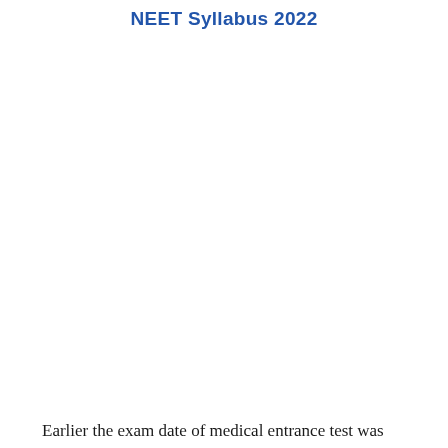NEET Syllabus 2022
Earlier the exam date of medical entrance test was